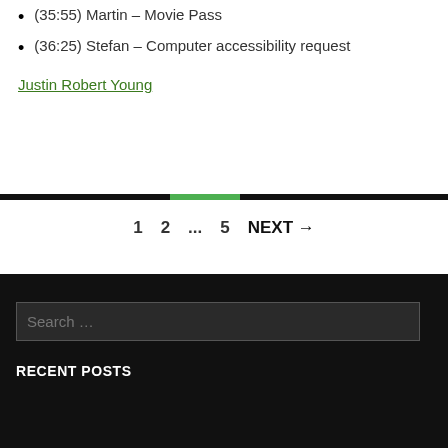(35:55) Martin – Movie Pass
(36:25) Stefan – Computer accessibility request
Justin Robert Young
1 2 … 5 NEXT →
Search ...
RECENT POSTS